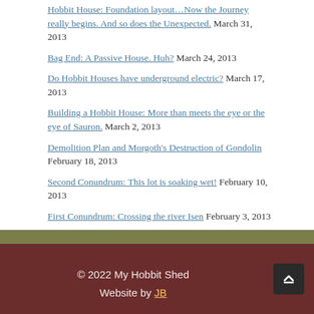Hobbit House: Foundation layout…Now the Journey really begins. And so does the Unexpected. March 31, 2013
Bag End: A Passive House. Huh? March 24, 2013
Do Hobbit Houses have underground electric? March 17, 2013
Building a Hobbit House: More than meets the eye or the eye of Sauron. March 2, 2013
Demolition Plan and Morgoth's Destruction of Gondolin February 18, 2013
Second Conundrum: This lot is soaking wet! February 10, 2013
First Conundrum: Crossing the river Isen February 3, 2013
Finding Hobbit Hollow: Where do Hobbits live? January 1, 2013
The Hobbit House: An Unexpected Journey December 22, 2012
Welcome to my new Construction Blog! December 12, 2012
© 2022 My Hobbit Shed  Website by JB